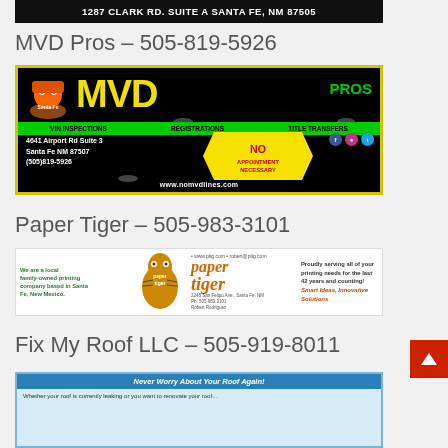1287 CLARK RD. SUITE A SANTA FE, NM 87505
MVD Pros – 505-819-5926
[Figure (illustration): MVD Pros advertisement: black background with yellow 'MVD' text and green 'PROS' text, green bar listing VIN INSPECTIONS, REGISTRATIONS, TITLE TRANSFERS. Address: 4641 Airport Rd Suite 3, Santa Fe NM 87507, (505)819-5926. Yellow starburst shape with 'NO APPOINTMENT NECESSARY'. Social media icons. Website: www.nomvdlines.com]
Paper Tiger – 505-983-3101
[Figure (illustration): Paper Tiger advertisement: local family-owned printing company based in Santa Fe, New Mexico. Paper tiger logo with tiger image. Contact: www.ptig.com, robert@ptig.com, 2240 San Felipe Ave, Santa Fe, NM. Phone: 505.983.3101. Robert Rodriguez. Proudly serving all of your printing needs for the last 42 years and counting! Smart Ideas, Innovative Solutions.]
Fix My Roof LLC – 505-919-8011
[Figure (illustration): Fix My Roof LLC advertisement: partial view. Blue banner reading 'Never Worry About Your Roof Again!' with text about roof services.]